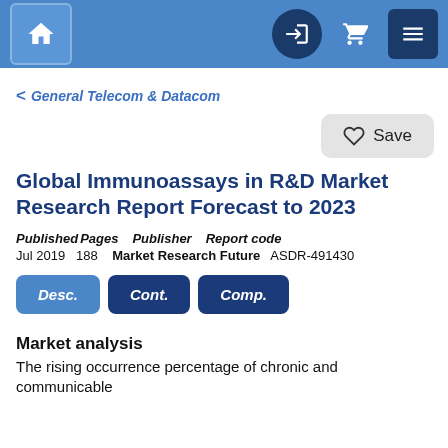Navigation bar with home, login, cart, and menu icons
< General Telecom & Datacom
Save
Global Immunoassays in R&D Market Research Report Forecast to 2023
Published Jul 2019   Pages 188   Publisher Market Research Future   Report code ASDR-491430
Desc.   Cont.   Comp.
Market analysis
The rising occurrence percentage of chronic and communicable